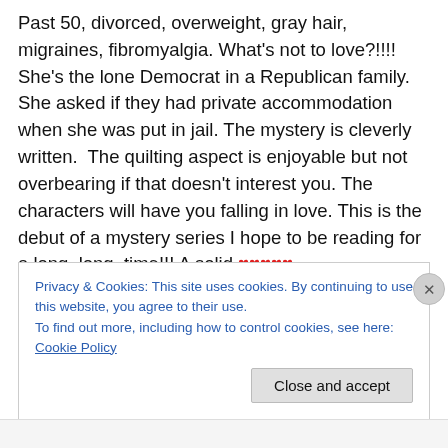Past 50, divorced, overweight, gray hair, migraines, fibromyalgia. What's not to love?!!!! She's the lone Democrat in a Republican family. She asked if they had private accommodation when she was put in jail. The mystery is cleverly written.  The quilting aspect is enjoyable but not overbearing if that doesn't interest you. The characters will have you falling in love. This is the debut of a mystery series I hope to be reading for a long, long, time!!! A solid ♥♥♥♥♥
Privacy & Cookies: This site uses cookies. By continuing to use this website, you agree to their use. To find out more, including how to control cookies, see here: Cookie Policy